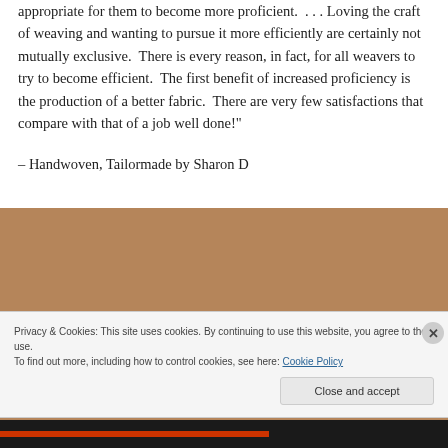appropriate for them to become more proficient.  . . . Loving the craft of weaving and wanting to pursue it more efficiently are certainly not mutually exclusive.  There is every reason, in fact, for all weavers to try to become efficient.  The first benefit of increased proficiency is the production of a better fabric.  There are very few satisfactions that compare with that of a job well done!"
– Handwoven, Tailormade by Sharon D
Privacy & Cookies: This site uses cookies. By continuing to use this website, you agree to their use.
To find out more, including how to control cookies, see here: Cookie Policy